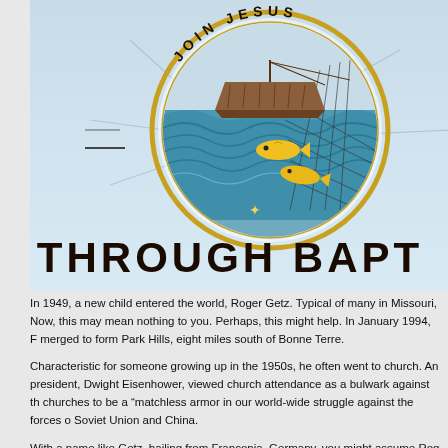[Figure (illustration): Circular emblem/logo with text 'JOIN JESUS' around the top arc, featuring a brown wooden boat on stylized blue waves with yellow fish caught in a fishing net, surrounded by a gold/yellow circular border. Background is light blue (sky blue gradient).]
THROUGH BAPT
In 1949, a new child entered the world, Roger Getz. Typical of many in Missouri, Now, this may mean nothing to you. Perhaps, this might help. In January 1994, F merged to form Park Hills, eight miles south of Bonne Terre.
Characteristic for someone growing up in the 1950s, he often went to church. An president, Dwight Eisenhower, viewed church attendance as a bulwark against th churches to be a "matchless armor in our world-wide struggle against the forces o Soviet Union and China.
With a name like Getz, hailing from Franconia, Germany, you might assume Rog Catholicism or Lutheranism. Nope, for he received baptism at the First Baptist Ch